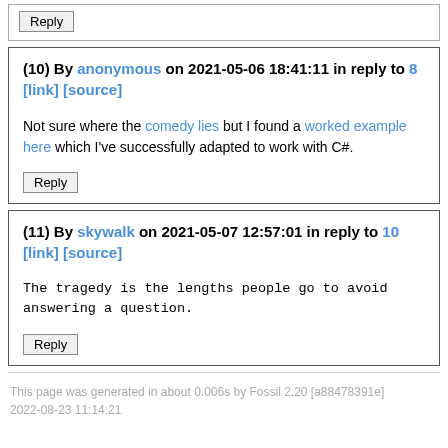Reply
(10) By anonymous on 2021-05-06 18:41:11 in reply to 8 [link] [source]
Not sure where the comedy lies but I found a worked example here which I've successfully adapted to work with C#.
Reply
(11) By skywalk on 2021-05-07 12:57:01 in reply to 10 [link] [source]
The tragedy is the lengths people go to avoid answering a question.
Reply
This page was generated in about 0.006s by Fossil 2.20 [a88478391e] 2022-08-23 11:14:21